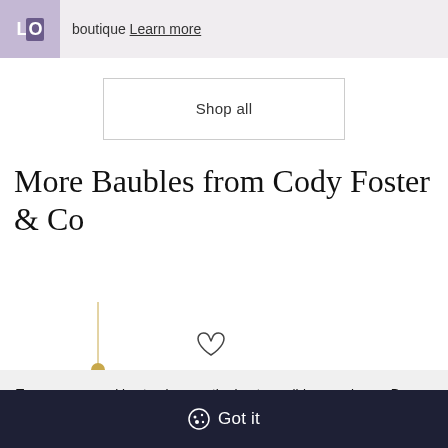boutique Learn more
Shop all
More Baubles from Cody Foster & Co
[Figure (photo): Partial view of a gold necklace pendant and a heart/wishlist icon]
Trouva uses cookies to give you the best possible experience. By using this website you agree to our Cookie Policy.
Got it